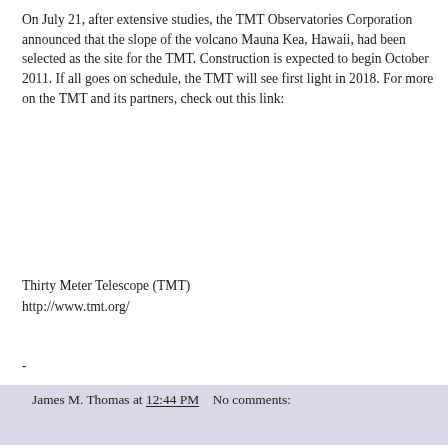On July 21, after extensive studies, the TMT Observatories Corporation announced that the slope of the volcano Mauna Kea, Hawaii, had been selected as the site for the TMT. Construction is expected to begin October 2011. If all goes on schedule, the TMT will see first light in 2018. For more on the TMT and its partners, check out this link:
Thirty Meter Telescope (TMT)
http://www.tmt.org/
-
James M. Thomas at 12:44 PM   No comments:
Sunday, November 01, 2009
Jesus' Teachings on Prayer
(Matthew 4:23-25; 5:1-2; 6:5-13)
What is prayer? In the most basic sense, prayer is talking to God